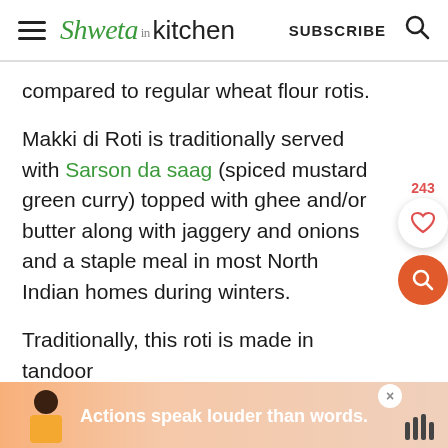Shweta in Kitchen  SUBSCRIBE
compared to regular wheat flour rotis.
Makki di Roti is traditionally served with Sarson da saag (spiced mustard green curry) topped with ghee and/or butter along with jaggery and onions and a staple meal in most North Indian homes during winters.
Traditionally, this roti is made in tandoor b... rille)
[Figure (infographic): Advertisement banner: person figure on left, text 'Actions speak louder than words.' in white on orange/salmon gradient background, close button, and logo on right.]